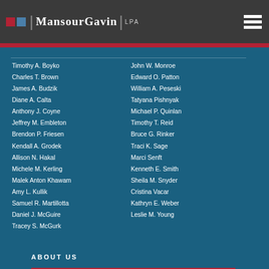MansourGavin LPA
Timothy A. Boyko
Charles T. Brown
James A. Budzik
Diane A. Calta
Anthony J. Coyne
Jeffrey M. Embleton
Brendon P. Friesen
Kendall A. Grodek
Allison N. Hakal
Michele M. Kerling
Malek Anton Khawam
Amy L. Kullik
Samuel R. Martillotta
Daniel J. McGuire
Tracey S. McGurk
John W. Monroe
Edward O. Patton
William A. Peseski
Tatyana Pishnyak
Michael P. Quinlan
Timothy T. Reid
Bruce G. Rinker
Traci K. Sage
Marci Senft
Kenneth E. Smith
Sheila M. Snyder
Cristina Vacar
Kathryn E. Weber
Leslie M. Young
ABOUT US